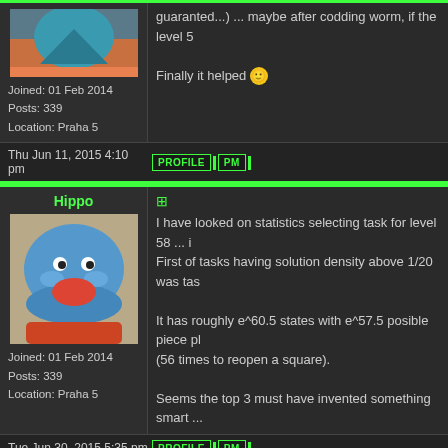[Figure (photo): Top-left avatar image (blue toy/elephant on sand background, partially visible)]
Joined: 01 Feb 2014
Posts: 339
Location: Praha 5
guaranted...) ... maybe after codding worm, if the level 5

Finally it helped 🙂
Thu Jun 11, 2015 4:10 pm
PROFILE | PM
Hippo
[Figure (photo): Blue hippo toy avatar sitting on sand with red disk/plate]
Joined: 01 Feb 2014
Posts: 339
Location: Praha 5
I have looked on statistics selecting task for level 58 ... i
First of tasks having solution density above 1/20 was tas

It has roughly e^60.5 states with e^57.5 posible piece pl
(56 times to reopen a square).

Seems the top 3 must have invented something smart ...
Tue Jun 30, 2015 5:35 pm
PROFILE | PM
Isaev
[Figure (photo): Dark photo portrait of a man with long hair]
Cool Hippo!
I can't 41 😀